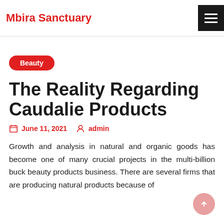Mbira Sanctuary
Beauty
The Reality Regarding Caudalie Products
June 11, 2021  admin
Growth and analysis in natural and organic goods has become one of many crucial projects in the multi-billion buck beauty products business. There are several firms that are producing natural products because of